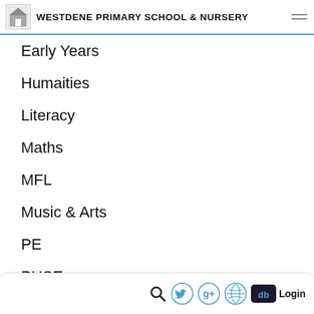WESTDENE PRIMARY SCHOOL & NURSERY
Early Years
Humaities
Literacy
Maths
MFL
Music & Arts
PE
PHSE
RE
Science